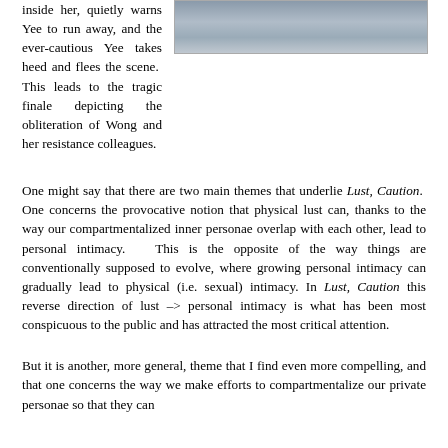inside her, quietly warns Yee to run away, and the ever-cautious Yee takes heed and flees the scene. This leads to the tragic finale depicting the obliteration of Wong and her resistance colleagues.
[Figure (photo): A partial photograph visible at the top right, showing a scene with figures, partially cropped.]
One might say that there are two main themes that underlie Lust, Caution. One concerns the provocative notion that physical lust can, thanks to the way our compartmentalized inner personae overlap with each other, lead to personal intimacy. This is the opposite of the way things are conventionally supposed to evolve, where growing personal intimacy can gradually lead to physical (i.e. sexual) intimacy. In Lust, Caution this reverse direction of lust –> personal intimacy is what has been most conspicuous to the public and has attracted the most critical attention.
But it is another, more general, theme that I find even more compelling, and that one concerns the way we make efforts to compartmentalize our private personae so that they can